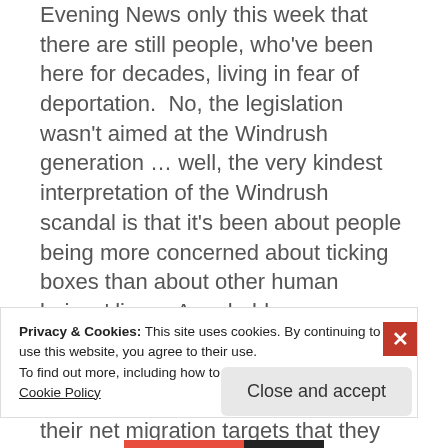Evening News only this week that there are still people, who've been here for decades, living in fear of deportation.  No, the legislation wasn't aimed at the Windrush generation … well, the very kindest interpretation of the Windrush scandal is that it's been about people being more concerned about ticking boxes than about other human beings' lives.  A probably more realistic interpretation is that it's been about heartless government departments so desperate to meet their net migration targets that they didn't care if they ruined the lives of
Privacy & Cookies: This site uses cookies. By continuing to use this website, you agree to their use.
To find out more, including how to control cookies, see here: Cookie Policy
Close and accept